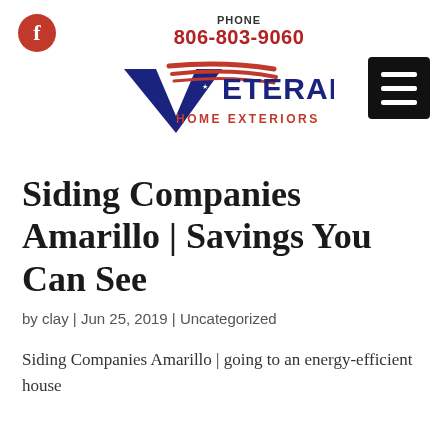PHONE 806-803-9060
[Figure (logo): Veteran Home Exteriors logo with navy V and stars, red flag brush strokes, navy text VETERAN HOME EXTERIORS]
Siding Companies Amarillo | Savings You Can See
by clay | Jun 25, 2019 | Uncategorized
Siding Companies Amarillo | going to an energy-efficient house